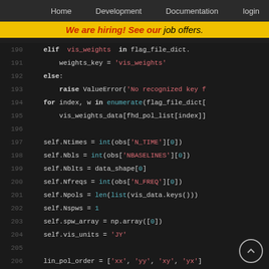Home   Development   Documentation   login
We are hiring! See our job offers.
[Figure (screenshot): Source code snippet showing Python code with line numbers 190-210, dark theme, with keywords in bold white, strings in red/pink, and built-in functions in teal.]